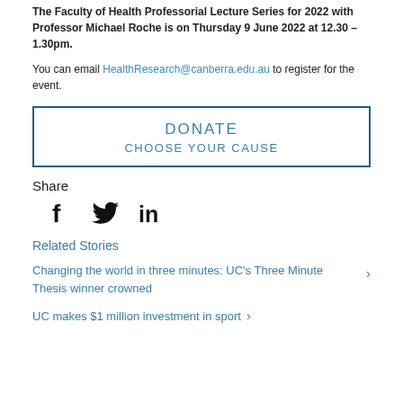The Faculty of Health Professorial Lecture Series for 2022 with Professor Michael Roche is on Thursday 9 June 2022 at 12.30 – 1.30pm.
You can email HealthResearch@canberra.edu.au to register for the event.
[Figure (other): DONATE / CHOOSE YOUR CAUSE button with blue border]
Share
[Figure (other): Social media icons: Facebook, Twitter, LinkedIn]
Related Stories
Changing the world in three minutes: UC's Three Minute Thesis winner crowned
UC makes $1 million investment in sport